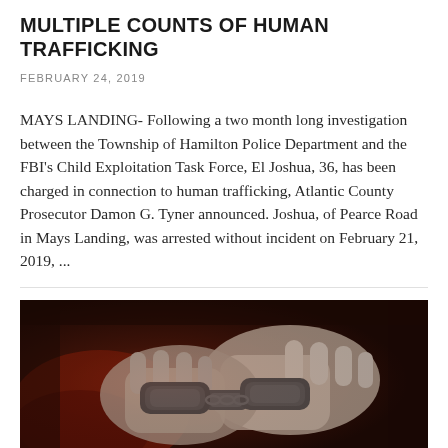MULTIPLE COUNTS OF HUMAN TRAFFICKING
FEBRUARY 24, 2019
MAYS LANDING- Following a two month long investigation between the Township of Hamilton Police Department and the FBI's Child Exploitation Task Force, El Joshua, 36, has been charged in connection to human trafficking, Atlantic County Prosecutor Damon G. Tyner announced. Joshua, of Pearce Road in Mays Landing, was arrested without incident on February 21, 2019, ...
Read More >   0  1.7k
[Figure (photo): Close-up photo of hands in handcuffs, dark reddish-brown tones]